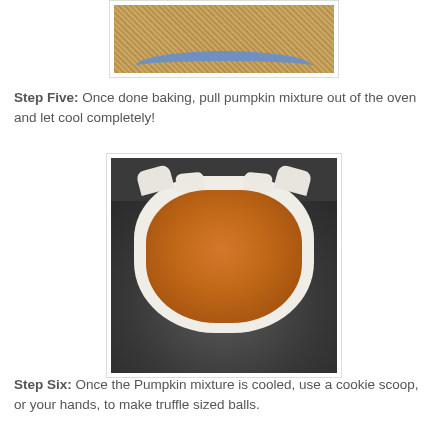[Figure (photo): Top portion of a bowl filled with oats or granola mixture, viewed from above, with a blue bowl rim visible at the bottom]
Step Five:  Once done baking, pull pumpkin mixture out of the oven and let cool completely!
[Figure (photo): A baked pumpkin mixture in a pie dish lined with parchment paper, showing a smooth orange-brown pumpkin filling, on a dark surface]
Step Six:  Once the Pumpkin mixture is cooled, use a cookie scoop, or your hands, to make truffle sized balls.